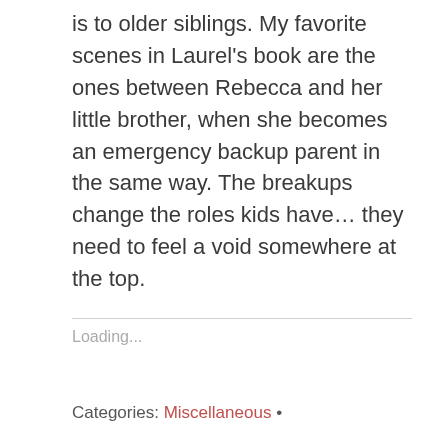is to older siblings. My favorite scenes in Laurel's book are the ones between Rebecca and her little brother, when she becomes an emergency backup parent in the same way. The breakups change the roles kids have… they need to feel a void somewhere at the top.
Loading...
Categories: Miscellaneous •